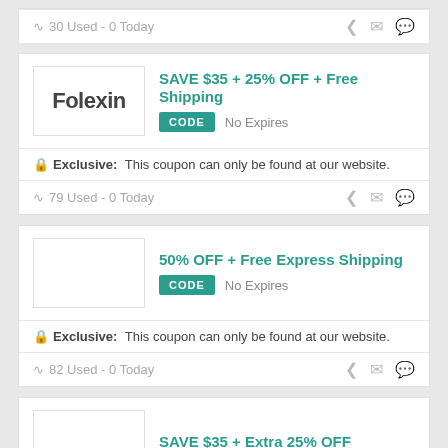30 Used - 0 Today
SAVE $35 + 25% OFF + Free Shipping
CODE  No Expires
Exclusive: This coupon can only be found at our website.
79 Used - 0 Today
50% OFF + Free Express Shipping
CODE  No Expires
Exclusive: This coupon can only be found at our website.
82 Used - 0 Today
SAVE $35 + Extra 25% OFF